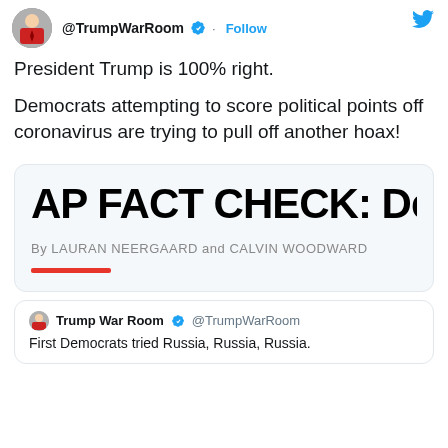[Figure (screenshot): Twitter/X post by @TrumpWarRoom showing avatar and handle with Follow button and verified badge]
President Trump is 100% right.

Democrats attempting to score political points off coronavirus are trying to pull off another hoax!
[Figure (screenshot): AP article card showing headline 'AP FACT CHECK: Demo' (truncated), byline 'By LAURAN NEERGAARD and CALVIN WOODWARD', and a red horizontal bar]
Trump War Room @TrumpWarRoom
First Democrats tried Russia, Russia, Russia.